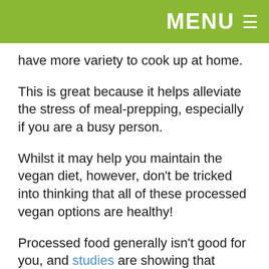MENU ≡
have more variety to cook up at home.
This is great because it helps alleviate the stress of meal-prepping, especially if you are a busy person.
Whilst it may help you maintain the vegan diet, however, don't be tricked into thinking that all of these processed vegan options are healthy!
Processed food generally isn't good for you, and studies are showing that regardless of being animal-based or plant; junk food is junk food!